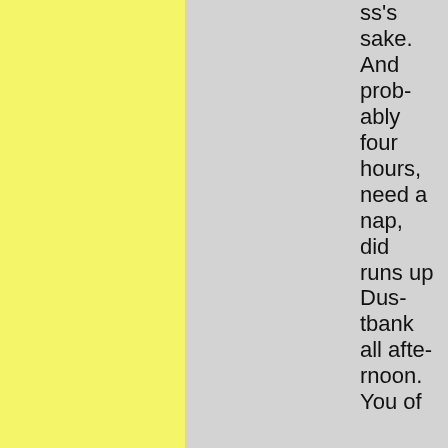ss's sake. And probably four hours, need a nap, did runs up Dustbank all afternoon. You of